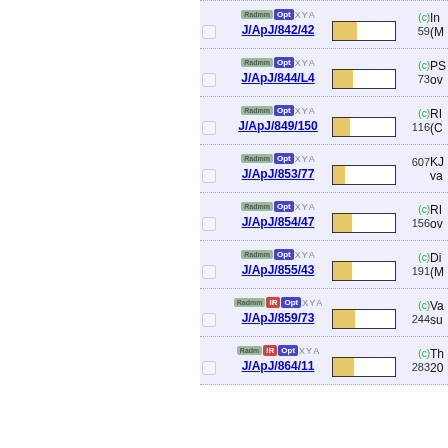J/ApJ/842/42 (c) 59 In (M
J/ApJ/844/L4 (c) 73 PS ov
J/ApJ/849/150 (c) 116 RI (C
J/ApJ/853/77 607 KJ va
J/ApJ/854/47 (c) 156 RI ov
J/ApJ/855/43 (c) 191 Di (M
J/ApJ/859/73 (c) 244 Va su
J/ApJ/864/11 (c) 283 Th 20